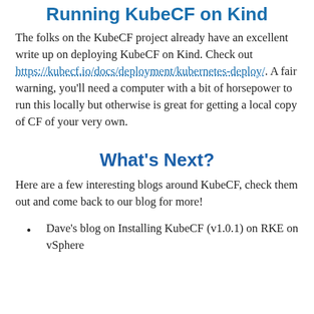Running KubeCF on Kind
The folks on the KubeCF project already have an excellent write up on deploying KubeCF on Kind. Check out https://kubecf.io/docs/deployment/kubernetes-deploy/. A fair warning, you'll need a computer with a bit of horsepower to run this locally but otherwise is great for getting a local copy of CF of your very own.
What's Next?
Here are a few interesting blogs around KubeCF, check them out and come back to our blog for more!
Dave's blog on Installing KubeCF (v1.0.1) on RKE on vSphere